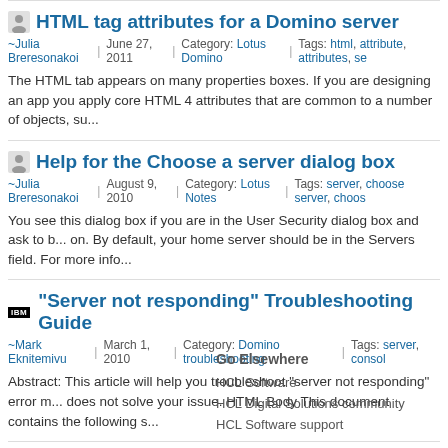HTML tag attributes for a Domino server
~Julia Breresonakoi | June 27, 2011 | Category: Lotus Domino | Tags: html, attribute, attributes, se...
The HTML tab appears on many properties boxes. If you are designing an app you apply core HTML 4 attributes that are common to a number of objects, su...
Help for the Choose a server dialog box
~Julia Breresonakoi | August 9, 2010 | Category: Lotus Notes | Tags: server, choose server, choos...
You see this dialog box if you are in the User Security dialog box and ask to b... on. By default, your home server should be in the Servers field. For more info...
"Server not responding" Troubleshooting Guide
~Mark Eknitemivu | March 1, 2010 | Category: Domino troubleshooting | Tags: server, consol...
Abstract: This article will help you troubleshoot "server not responding" error m... does not solve your issue. HTML Body This document contains the following s...
Go Elsewhere
HCL Software
HCL Digital Solutions community
HCL Software support